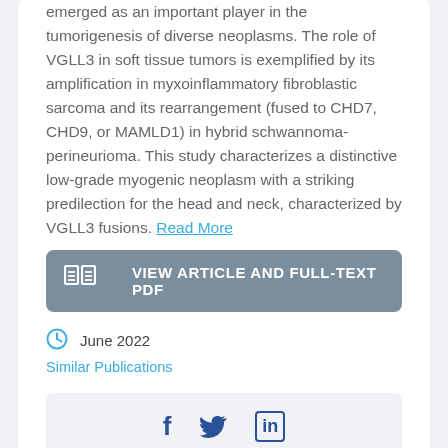emerged as an important player in the tumorigenesis of diverse neoplasms. The role of VGLL3 in soft tissue tumors is exemplified by its amplification in myxoinflammatory fibroblastic sarcoma and its rearrangement (fused to CHD7, CHD9, or MAMLD1) in hybrid schwannoma-perineurioma. This study characterizes a distinctive low-grade myogenic neoplasm with a striking predilection for the head and neck, characterized by VGLL3 fusions. Read More
VIEW ARTICLE AND FULL-TEXT PDF
June 2022
Similar Publications
[Figure (other): Social sharing icons: Facebook (f), Twitter (bird), LinkedIn (in)]
Success in Emergency Treatment of Neonatal Giant Teratoma with Cleft Palate: A Case Report